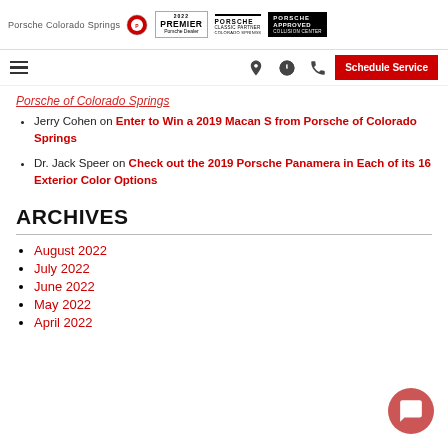Porsche Colorado Springs | 2022 Premier Porsche Dealer | Porsche Classic Partner Colorado Springs | Porsche Approved Collision Center
Porsche of Colorado Springs (partial, linked)
Jerry Cohen on Enter to Win a 2019 Macan S from Porsche of Colorado Springs
Dr. Jack Speer on Check out the 2019 Porsche Panamera in Each of its 16 Exterior Color Options
ARCHIVES
August 2022
July 2022
June 2022
May 2022
April 2022